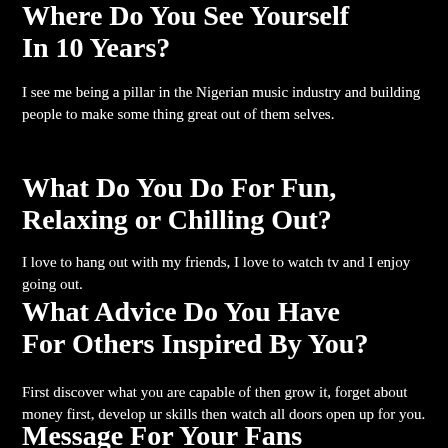Where Do You See Yourself In 10 Years?
I see me being a pillar in the Nigerian music industry and building people to make some thing great out of them selves.
What Do You Do For Fun, Relaxing or Chilling Out?
I love to hang out with my friends, I love to watch tv and I enjoy going out.
What Advice Do You Have For Others Inspired By You?
First discover what you are capable of then grow it, forget about money first, develop ur skills then watch all doors open up for you.
Message For Your Fans